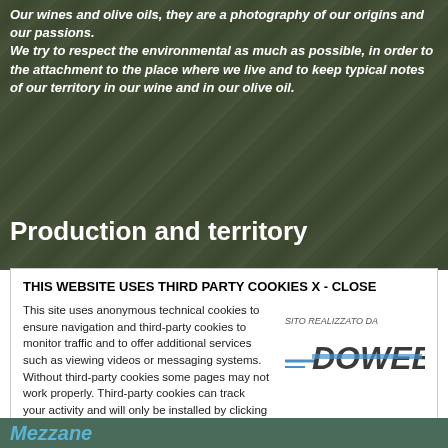Our wines and olive oils, they are a photography of our origins and our passions.
We try to respect the environmental as much as possible, in order to the attachment to the place where we live and to keep typical notes of our territory in our wine and in our olive oil.
Production and territory
THIS WEBSITE USES THIRD PARTY COOKIES X - CLOSE
This site uses anonymous technical cookies to ensure navigation and third-party cookies to monitor traffic and to offer additional services such as viewing videos or messaging systems. Without third-party cookies some pages may not work properly. Third-party cookies can track your activity and will only be installed by clicking on the "Accept all cookies" button. You can change your selection at any time by clicking on the "Cookie" link on each page at the bottom left. By clicking on one of the two buttons you declare that you have read the privacy policy and to accept the conditions.
[Figure (logo): SITO REALIZZATO DA DOWEB logo with blue and grey stylized text and speed lines]
More information
ACCEPT ALL COOKIES
ONLY TECHNICAL COOKIES
Mezzane